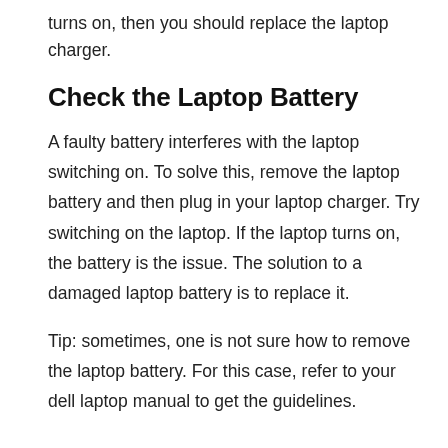turns on, then you should replace the laptop charger.
Check the Laptop Battery
A faulty battery interferes with the laptop switching on. To solve this, remove the laptop battery and then plug in your laptop charger. Try switching on the laptop. If the laptop turns on, the battery is the issue. The solution to a damaged laptop battery is to replace it.
Tip: sometimes, one is not sure how to remove the laptop battery. For this case, refer to your dell laptop manual to get the guidelines.